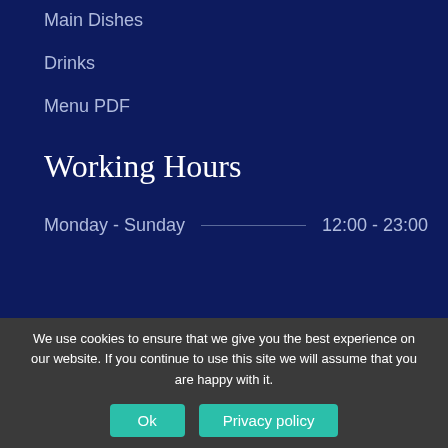Main Dishes
Drinks
Menu PDF
Working Hours
Monday - Sunday  12:00 - 23:00
We use cookies to ensure that we give you the best experience on our website. If you continue to use this site we will assume that you are happy with it.
Ok
Privacy policy